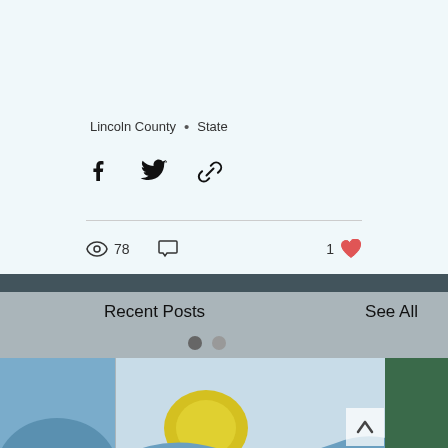Lincoln County · State
[Figure (screenshot): Social share icons: Facebook, Twitter, and link/copy icon]
78 views, comment icon, 1 like
Recent Posts
See All
[Figure (illustration): Lincoln County banner image with waves, sun, and 'Lincoln County' text in bold italic serif font. Partial cards visible on left and right edges.]